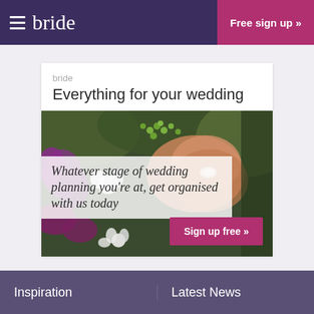bride  Free sign up »
bride
Everything for your wedding
[Figure (photo): Close-up photo of two hands holding together with diamond engagement/wedding rings, surrounded by a colorful wedding bouquet with purple flowers, white flowers, and green berries. Overlaid italic text reads: Whatever stage of wedding planning you're at, get organised with us today. A pink/magenta 'Sign up free »' button is in the lower right.]
Inspiration   Latest News